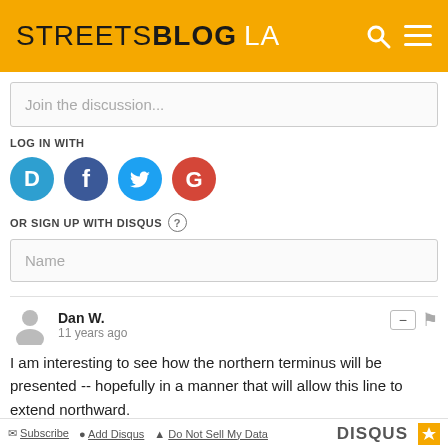STREETSBLOG LA
Join the discussion...
LOG IN WITH
[Figure (illustration): Social login icons: Disqus (blue circle with D), Facebook (dark blue circle with f), Twitter (light blue circle with bird), Google (red circle with G)]
OR SIGN UP WITH DISQUS ?
Name
Dan W.
11 years ago
I am interesting to see how the northern terminus will be presented -- hopefully in a manner that will allow this line to extend northward.
^ | v  Reply
Subscribe  Add Disqus  Do Not Sell My Data    DISQUS